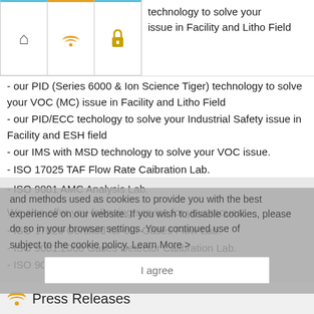[Figure (screenshot): Browser navigation bar with home, wifi, and lock icons, plus partial text: 'technology to solve your issue in Facility and Litho Field']
- our PID (Series 6000 & Ion Science Tiger) technology to solve your VOC (MC) issue in Facility and Litho Field
- our PID/ECC techology to solve your Industrial Safety issue in Facility and ESH field
- our IMS with MSD technology to solve your VOC issue.
- ISO 17025 TAF Flow Rate Caibration Lab.
- ISO 9001 AMC Analysis Lab.
We also offer you following service for your request
- ISO 17025 Certified for our Gases Flow Lab.
- ISO 9001:2008 Gases Detector Calibration Lab.
- ISO 9001:2008 AMC Analysis Lab.
If you have any questions, please free contact with us in Taiwan by Toll-Free: 0800-000501 or in China +86-592264043. Please visit our Web Site www.jusun.com.tw & e-mail us by jusun@jusun.com.tw for your inquires.
[Figure (screenshot): Cookie consent overlay with text about cookies and an 'I agree' button]
Press Releases